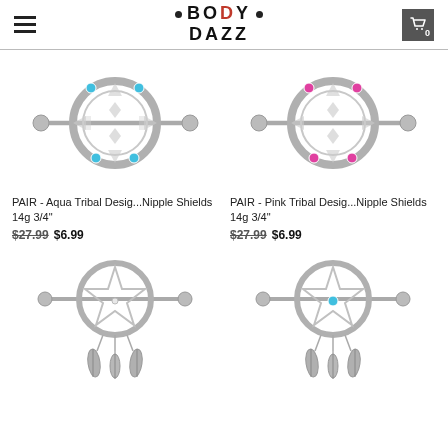BODY DAZZ
[Figure (photo): Silver tribal design nipple shield with aqua/blue gemstones and barbell]
PAIR - Aqua Tribal Desig...Nipple Shields 14g 3/4"
$27.99  $6.99
[Figure (photo): Silver tribal design nipple shield with pink gemstones and barbell]
PAIR - Pink Tribal Desig...Nipple Shields 14g 3/4"
$27.99  $6.99
[Figure (photo): Silver dreamcatcher nipple shield with star design and feather dangles]
[Figure (photo): Silver dreamcatcher nipple shield with aqua gemstone and feather dangles]